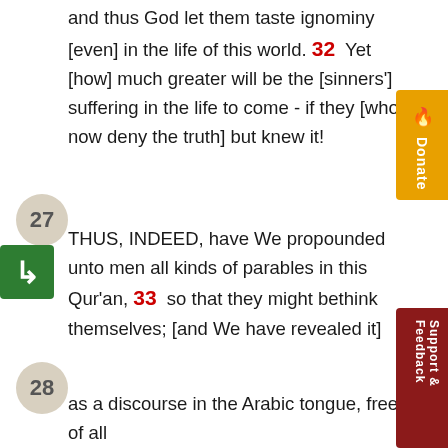and thus God let them taste ignominy [even] in the life of this world. 32  Yet [how] much greater will be the [sinners'] suffering in the life to come - if they [who now deny the truth] but knew it!
27
THUS, INDEED, have We propounded unto men all kinds of parables in this Qur'an, 33  so that they might bethink themselves; [and We have revealed it]
28
as a discourse in the Arabic tongue, free of all deviousness, 34  so that they might become conscious of God.
29
[To this end,] God sets forth a parable: A man who has